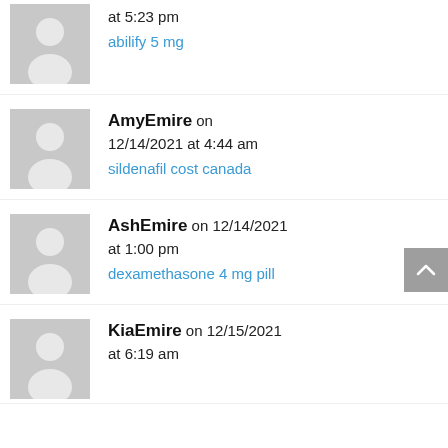at 5:23 pm — abilify 5 mg
AmyEmire on 12/14/2021 at 4:44 am — sildenafil cost canada
AshEmire on 12/14/2021 at 1:00 pm — dexamethasone 4 mg pill
KiaEmire on 12/15/2021 at 6:19 am